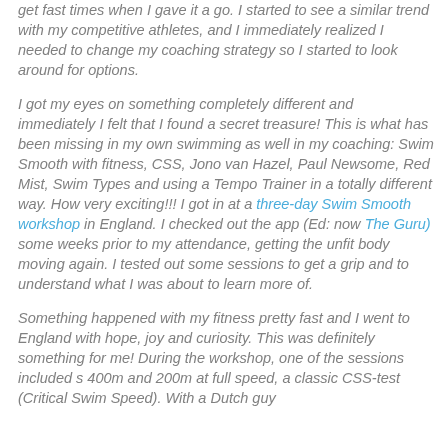get fast times when I gave it a go. I started to see a similar trend with my competitive athletes, and I immediately realized I needed to change my coaching strategy so I started to look around for options.
I got my eyes on something completely different and immediately I felt that I found a secret treasure! This is what has been missing in my own swimming as well in my coaching: Swim Smooth with fitness, CSS, Jono van Hazel, Paul Newsome, Red Mist, Swim Types and using a Tempo Trainer in a totally different way. How very exciting!!! I got in at a three-day Swim Smooth workshop in England. I checked out the app (Ed: now The Guru) some weeks prior to my attendance, getting the unfit body moving again. I tested out some sessions to get a grip and to understand what I was about to learn more of.
Something happened with my fitness pretty fast and I went to England with hope, joy and curiosity. This was definitely something for me! During the workshop, one of the sessions included s 400m and 200m at full speed, a classic CSS-test (Critical Swim Speed). With a Dutch guy